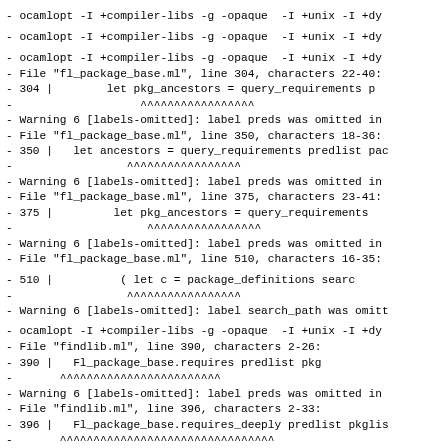- ocamlopt -I +compiler-libs -g -opaque  -I +unix -I +dyn
- ocamlopt -I +compiler-libs -g -opaque  -I +unix -I +dyn
- ocamlopt -I +compiler-libs -g -opaque  -I +unix -I +dyn
- File "fl_package_base.ml", line 304, characters 22-40:
- 304 |         let pkg_ancestors = query_requirements p
-                    ^^^^^^^^^^^^^^^^^
- Warning 6 [labels-omitted]: label preds was omitted in
- File "fl_package_base.ml", line 350, characters 18-36:
- 350 |   let ancestors = query_requirements predlist pac
-                  ^^^^^^^^^^^^^^^^^
- Warning 6 [labels-omitted]: label preds was omitted in
- File "fl_package_base.ml", line 375, characters 23-41:
- 375 |          let pkg_ancestors = query_requirements
-                     ^^^^^^^^^^^^^^^^^
- Warning 6 [labels-omitted]: label preds was omitted in
- File "fl_package_base.ml", line 510, characters 16-35:
- 510 |           ( let c = package_definitions searc
-                  ^^^^^^^^^^^^^^^^^
- Warning 6 [labels-omitted]: label search_path was omitt
- ocamlopt -I +compiler-libs -g -opaque  -I +unix -I +dyn
- File "findlib.ml", line 390, characters 2-26:
- 390 |   Fl_package_base.requires predlist pkg
-       ^^^^^^^^^^^^^^^^^^^^^^^^
- Warning 6 [labels-omitted]: label preds was omitted in
- File "findlib.ml", line 396, characters 2-33:
- 396 |   Fl_package_base.requires_deeply predlist pkglis
-       ^^^^^^^^^^^^^^^^^^^^^^^^^^^^^^^^
- Warning 6 [labels-omitted]: label preds was omitted in
- ocamlopt -I +compiler-libs -g -opaque  -I +unix -I +dyn
- ocamlopt -I +compiler-libs -g -opaque  -I +unix -I +dyn
- ocamlopt -I +compiler-libs -g -opaque -o findlib.cma findl